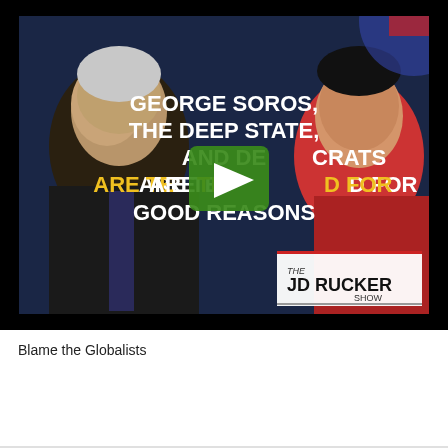[Figure (screenshot): Video thumbnail screenshot showing George Soros on the left and an Asian man on the right, with bold white text reading 'GEORGE SOROS, THE DEEP STATE, AND DEMOCRATS ARE TERRIFIED FOR GOOD REASONS' partially obscured by a green play button in the center. The JD Rucker Show logo appears in the bottom right.]
Blame the Globalists